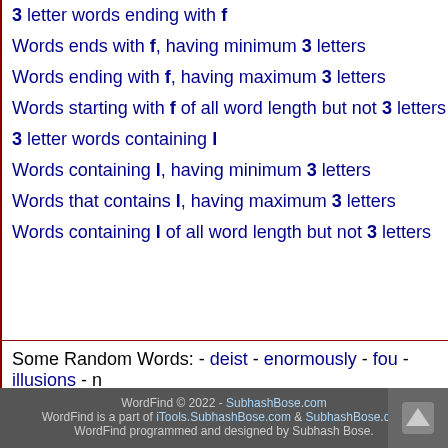3 letter words ending with f
Words ends with f, having minimum 3 letters
Words ending with f, having maximum 3 letters
Words starting with f of all word length but not 3 letters
3 letter words containing l
Words containing l, having minimum 3 letters
Words that contains l, having maximum 3 letters
Words containing l of all word length but not 3 letters
Some Random Words: - deist - enormously - fou - illusions - n... toilsomeness
WordFind © 2022 - SubhashBose.com
WordFind is a part of iTools.SubhashBose.com & SubhashBose.com
WordFind programmed and designed by Subhash Bose.